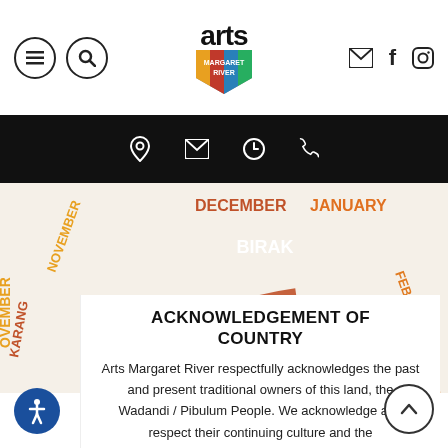[Figure (screenshot): Arts Margaret River website header with logo, hamburger menu, search icon, email, Facebook, Instagram icons]
[Figure (illustration): Black navigation bar with location pin, email, clock, and phone icons]
[Figure (infographic): Circular seasonal calendar showing BIRAK season between DECEMBER and JANUARY, with NOVEMBER and FEBRUARY visible. Shows 'Dry and hot. Also known as...' text. Adjacent seasons show KARANG and BUNURU labels.]
ACKNOWLEDGEMENT OF COUNTRY
Arts Margaret River respectfully acknowledges the past and present traditional owners of this land, the Wadandi / Pibulum People. We acknowledge and respect their continuing culture and the